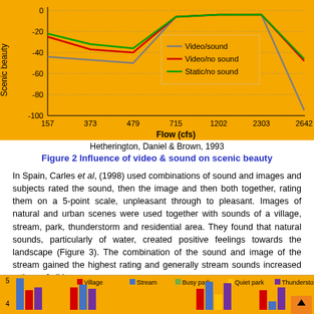[Figure (line-chart): Scenic beauty vs Flow (cfs)]
Hetherington, Daniel & Brown, 1993
Figure 2 Influence of video & sound on scenic beauty
In Spain, Carles et al, (1998) used combinations of sound and images and subjects rated the sound, then the image and then both together, rating them on a 5-point scale, unpleasant through to pleasant. Images of natural and urban scenes were used together with sounds of a village, stream, park, thunderstorm and residential area. They found that natural sounds, particularly of water, created positive feelings towards the landscape (Figure 3). The combination of the sound and image of the stream gained the highest rating and generally stream sounds increased ratings of all images.
[Figure (bar-chart): ]